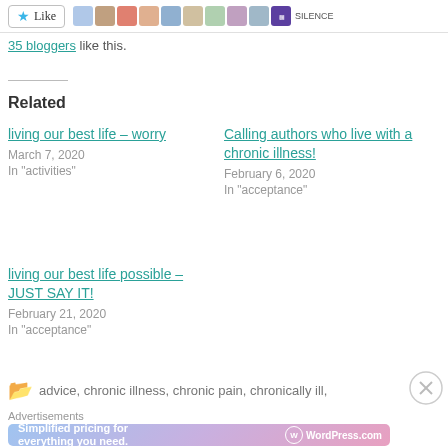[Figure (screenshot): Like button and avatar row of bloggers at top of page]
35 bloggers like this.
Related
living our best life – worry
March 7, 2020
In "activities"
Calling authors who live with a chronic illness!
February 6, 2020
In "acceptance"
living our best life possible – JUST SAY IT!
February 21, 2020
In "acceptance"
advice, chronic illness, chronic pain, chronically ill,
[Figure (screenshot): WordPress.com advertisement banner: Simplified pricing for everything you need.]